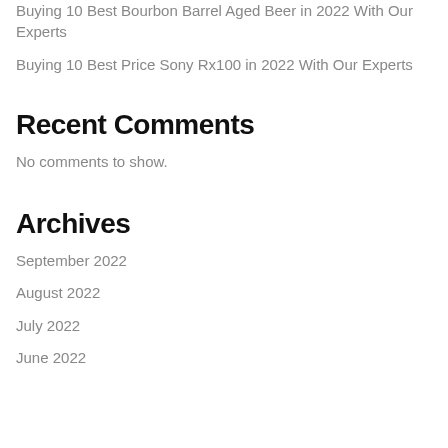Buying 10 Best Bourbon Barrel Aged Beer in 2022 With Our Experts
Buying 10 Best Price Sony Rx100 in 2022 With Our Experts
Recent Comments
No comments to show.
Archives
September 2022
August 2022
July 2022
June 2022